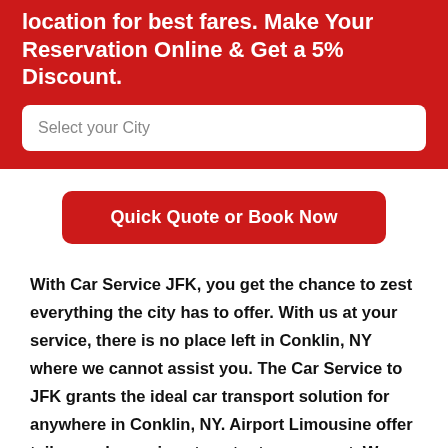location for best fares. Make Your Reservation Online & Get a 5% Discount.
Select your City
Quick Quote or Book Now
With Car Service JFK, you get the chance to zest everything the city has to offer. With us at your service, there is no place left in Conklin, NY where we cannot assist you. The Car Service to JFK grants the ideal car transport solution for anywhere in Conklin, NY. Airport Limousine offer tailor-made services to cater to our guest. We give the best in class experience.